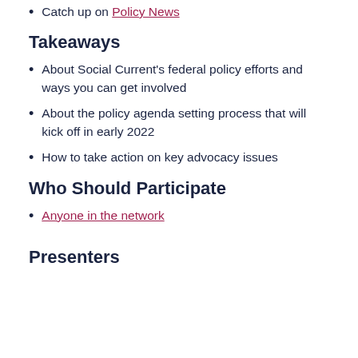Catch up on Policy News
Takeaways
About Social Current's federal policy efforts and ways you can get involved
About the policy agenda setting process that will kick off in early 2022
How to take action on key advocacy issues
Who Should Participate
Anyone in the network
Presenters